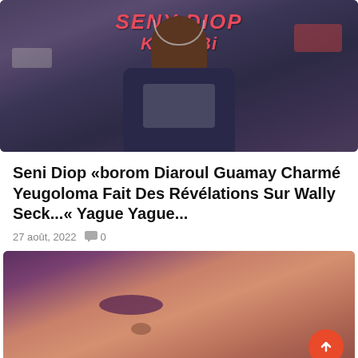[Figure (photo): Photo of a man wearing a dark navy blue t-shirt with 'SENY DIOP Khale Bi' printed in red text, wearing a necklace. Urban background with cars visible.]
Seni Diop «borom Diaroul Guamay Charmé Yeugoloma Fait Des Révélations Sur Wally Seck...« Yague Yague...
27 août, 2022  0
[Figure (photo): Close-up photo of a woman with long brown hair, wearing purple eye shadow with eyes closed and red lipstick. Purple background visible.]